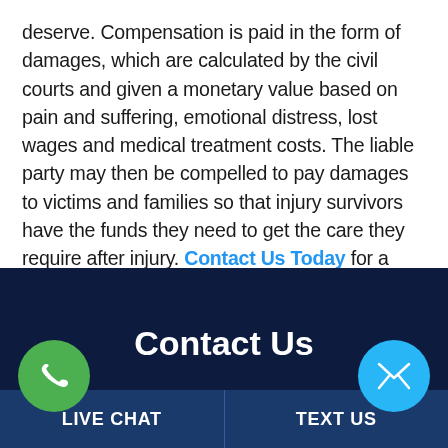deserve. Compensation is paid in the form of damages, which are calculated by the civil courts and given a monetary value based on pain and suffering, emotional distress, lost wages and medical treatment costs. The liable party may then be compelled to pay damages to victims and families so that injury survivors have the funds they need to get the care they require after injury. Contact Us Today for a cost-free case evaluation.
Contact Us
LIVE CHAT
TEXT US